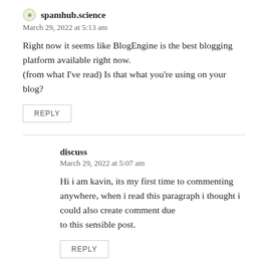spamhub.science
March 29, 2022 at 5:13 am
Right now it seems like BlogEngine is the best blogging platform available right now. (from what I've read) Is that what you're using on your blog?
REPLY
discuss
March 29, 2022 at 5:07 am
Hi i am kavin, its my first time to commenting anywhere, when i read this paragraph i thought i could also create comment due to this sensible post.
REPLY